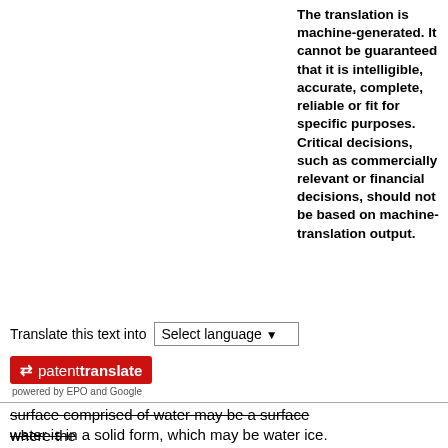The translation is machine-generated. It cannot be guaranteed that it is intelligible, accurate, complete, reliable or fit for specific purposes. Critical decisions, such as commercially relevant or financial decisions, should not be based on machine-translation output.
Translate this text into
[Figure (other): PatentTranslate widget: a red button with arrow icon and 'patenttranslate' text, below it reads 'powered by EPO and Google', with a 'Select language' dropdown]
surface comprised of water may be a surface where the water is in a solid form, which may be water ice.
[0028] A system of one or more computers may be configured to perform particular operations or actions by virtue of having software, firmware, hardware, or a